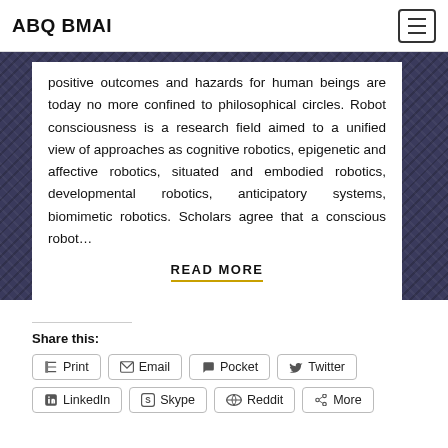ABQ BMAI
positive outcomes and hazards for human beings are today no more confined to philosophical circles. Robot consciousness is a research field aimed to a unified view of approaches as cognitive robotics, epigenetic and affective robotics, situated and embodied robotics, developmental robotics, anticipatory systems, biomimetic robotics. Scholars agree that a conscious robot…
READ MORE
Share this:
Print
Email
Pocket
Twitter
LinkedIn
Skype
Reddit
More